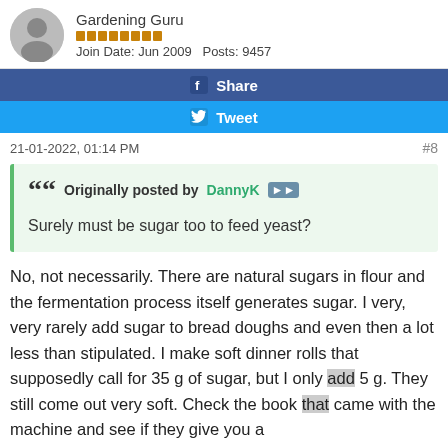Gardening Guru | Join Date: Jun 2009 | Posts: 9457
Share
Tweet
21-01-2022, 01:14 PM   #8
Originally posted by DannyK
Surely must be sugar too to feed yeast?
No, not necessarily. There are natural sugars in flour and the fermentation process itself generates sugar. I very, very rarely add sugar to bread doughs and even then a lot less than stipulated. I make soft dinner rolls that supposedly call for 35 g of sugar, but I only add 5 g. They still come out very soft. Check the book that came with the machine and see if they give you a